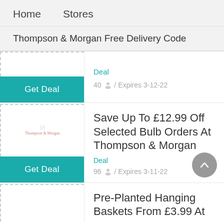Home    Stores
Thompson & Morgan Free Delivery Code
Deal / 40 / Expires 3-12-22
Save Up To £12.99 Off Selected Bulb Orders At Thompson & Morgan
Deal
96 / Expires 3-11-22
Pre-Planted Hanging Baskets From £3.99 At